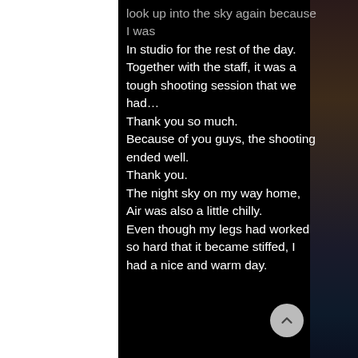look up into the sky again because I was In studio for the rest of the day. Together with the staff, it was a tough shooting session that we had… Thank you so much. Because of you guys, the shooting ended well. Thank you. The night sky on my way home, Air was also a little chilly. Even though my legs had worked so hard that it became stiffed, I had a nice and warm day.
[Figure (photo): Partial photo on right side top — dark reddish-brownish tones, appears to show a person in a dark setting]
[Figure (photo): Partial photo on right side bottom — dark blue tones, appears to show a person in dark clothing]